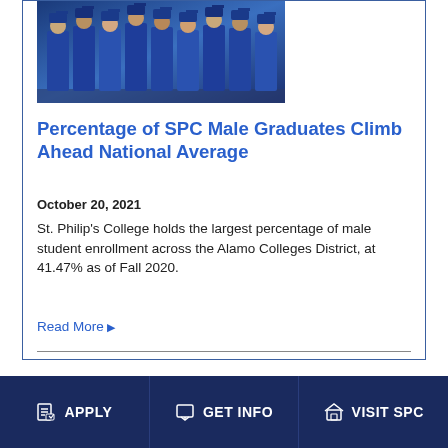[Figure (photo): Group photo of graduates in blue caps and gowns standing together]
Percentage of SPC Male Graduates Climb Ahead National Average
October 20, 2021
St. Philip's College holds the largest percentage of male student enrollment across the Alamo Colleges District, at 41.47% as of Fall 2020.
Read More ▶
APPLY  GET INFO  VISIT SPC